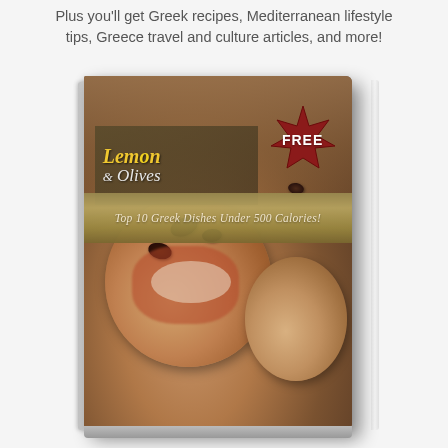Plus you'll get Greek recipes, Mediterranean lifestyle tips, Greece travel and culture articles, and more!
[Figure (illustration): 3D book cover for 'Lemon & Olives' showing food photography of Greek bruschetta with olives and tomatoes. A dark red starburst badge says FREE. The subtitle reads 'Top 10 Greek Dishes Under 500 Calories!']